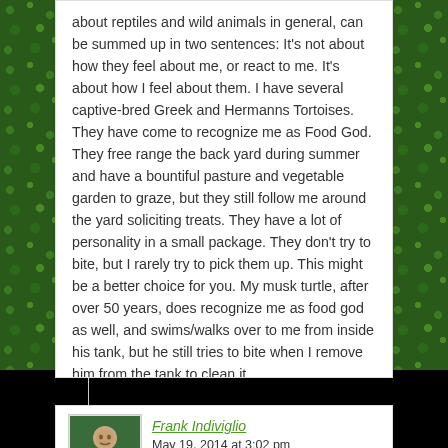about reptiles and wild animals in general, can be summed up in two sentences: It's not about how they feel about me, or react to me. It's about how I feel about them. I have several captive-bred Greek and Hermanns Tortoises. They have come to recognize me as Food God. They free range the back yard during summer and have a bountiful pasture and vegetable garden to graze, but they still follow me around the yard soliciting treats. They have a lot of personality in a small package. They don't try to bite, but I rarely try to pick them up. This might be a better choice for you. My musk turtle, after over 50 years, does recognize me as food god as well, and swims/walks over to me from inside his tank, but he still tries to bite when I remove him from the tank to clean it.
Frank Indiviglio
May 19, 2014 at 3:02 pm